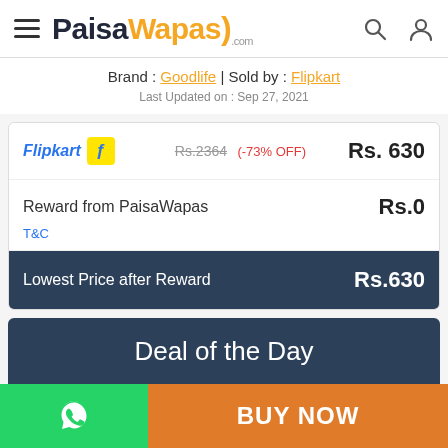PaisaWapas.com
Brand : Goodlife | Sold by : Flipkart
Last Updated on : Sep 27, 2021
| Store | Original Price | Discount | Final Price |
| --- | --- | --- | --- |
| Flipkart | Rs.2364 | (-73% OFF) | Rs.630 |
| Reward from PaisaWapas |  |  | Rs.0 |
| Lowest Price after Reward |  |  | Rs.630 |
Deal of the Day